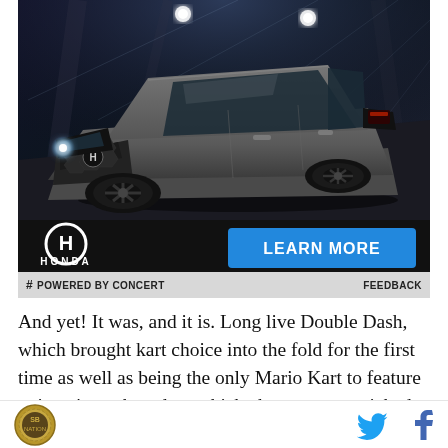[Figure (photo): Honda advertisement showing a dark gray Honda SUV (CR-V style) driving on a road at night with motion-blurred background. Bottom of ad shows Honda logo on left and 'LEARN MORE' blue button on right.]
POWERED BY CONCERT   FEEDBACK
And yet! It was, and it is. Long live Double Dash, which brought kart choice into the fold for the first time as well as being the only Mario Kart to feature unique items based on which character you picked. Now, being
[Figure (logo): SB Nation site logo (circular golden badge) on left; Twitter bird icon and Facebook 'f' icon on right]